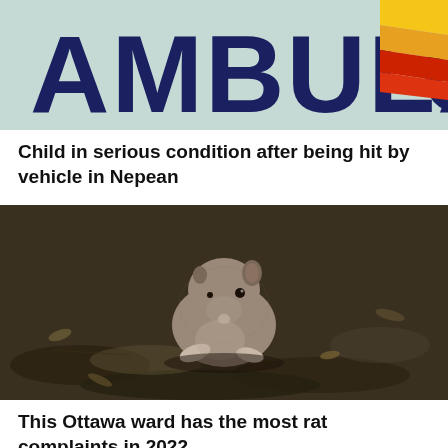[Figure (photo): Close-up of an ambulance sign showing letters AMBULANCE in dark blue on a light background, with yellow, red and orange diagonal stripes on the right side.]
Child in serious condition after being hit by vehicle in Nepean
[Figure (photo): A small brown rat or mouse foraging on dark soil and debris on the ground, photographed close-up.]
This Ottawa ward has the most rat complaints in 2022